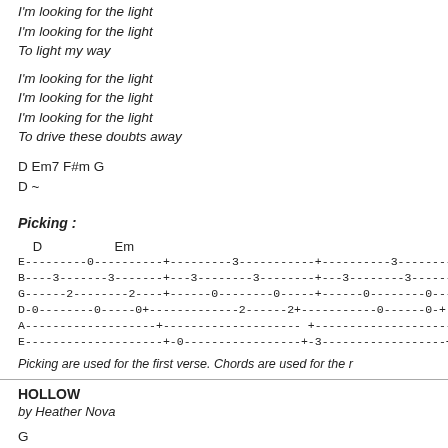I'm looking for the light
I'm looking for the light
To light my way
I'm looking for the light
I'm looking for the light
I'm looking for the light
To drive these doubts away
D Em7 F#m G
D ~
Picking :
[Figure (other): Guitar tablature showing picking pattern for D and Em chords with string notation E B G D A E]
Picking are used for the first verse. Chords are used for the r
HOLLOW
by Heather Nova
G